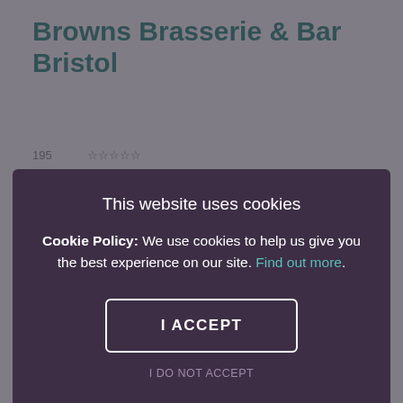Browns Brasserie & Bar Bristol
[Figure (photo): Restaurant interior with set tables, blue chairs, wine glasses, and wooden tables in a modern brasserie setting]
This website uses cookies
Cookie Policy: We use cookies to help us give you the best experience on our site. Find out more.
I ACCEPT
I DO NOT ACCEPT